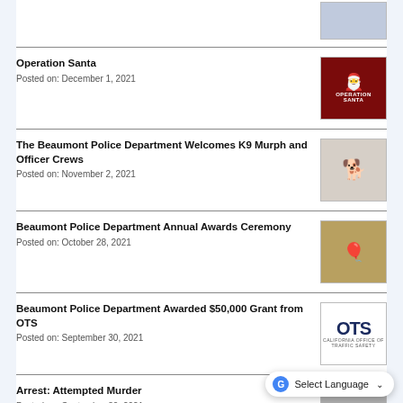[Figure (photo): Partial thumbnail of a news item at the top of the page]
Operation Santa
Posted on: December 1, 2021
[Figure (photo): Operation Santa promotional image with red background and Santa figure]
The Beaumont Police Department Welcomes K9 Murph and Officer Crews
Posted on: November 2, 2021
[Figure (photo): Photo of a German Shepherd police dog near a police vehicle]
Beaumont Police Department Annual Awards Ceremony
Posted on: October 28, 2021
[Figure (photo): Awards ceremony room with blue and black balloons and tables]
Beaumont Police Department Awarded $50,000 Grant from OTS
Posted on: September 30, 2021
[Figure (logo): OTS - California Office of Traffic Safety logo]
Arrest: Attempted Murder
Posted on: September 30, 2021
[Figure (photo): Partially visible thumbnail for Arrest news item]